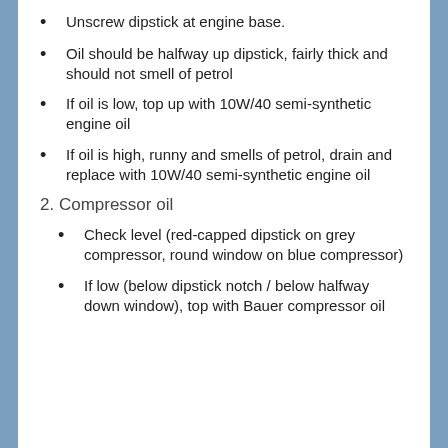Unscrew dipstick at engine base.
Oil should be halfway up dipstick, fairly thick and should not smell of petrol
If oil is low, top up with 10W/40 semi-synthetic engine oil
If oil is high, runny and smells of petrol, drain and replace with 10W/40 semi-synthetic engine oil
2. Compressor oil
Check level (red-capped dipstick on grey compressor, round window on blue compressor)
If low (below dipstick notch / below halfway down window), top with Bauer compressor oil